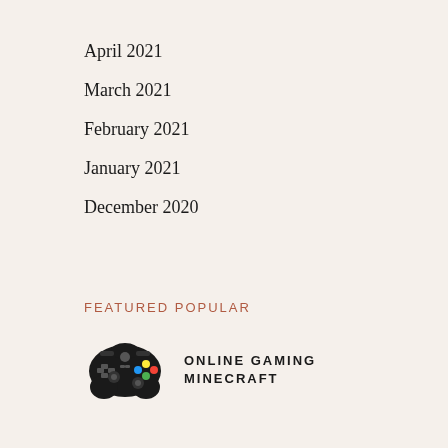April 2021
March 2021
February 2021
January 2021
December 2020
FEATURED POPULAR
[Figure (illustration): Black Xbox game controller icon]
ONLINE GAMING MINECRAFT